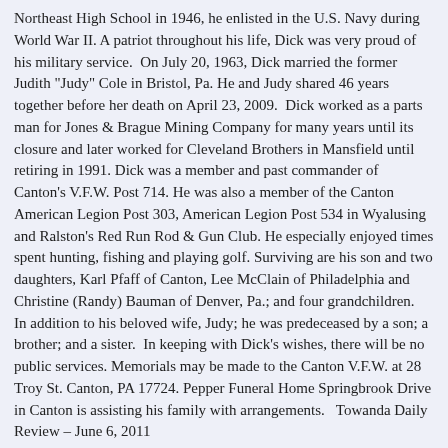Northeast High School in 1946, he enlisted in the U.S. Navy during World War II. A patriot throughout his life, Dick was very proud of his military service. On July 20, 1963, Dick married the former Judith "Judy" Cole in Bristol, Pa. He and Judy shared 46 years together before her death on April 23, 2009. Dick worked as a parts man for Jones & Brague Mining Company for many years until its closure and later worked for Cleveland Brothers in Mansfield until retiring in 1991. Dick was a member and past commander of Canton's V.F.W. Post 714. He was also a member of the Canton American Legion Post 303, American Legion Post 534 in Wyalusing and Ralston's Red Run Rod & Gun Club. He especially enjoyed times spent hunting, fishing and playing golf. Surviving are his son and two daughters, Karl Pfaff of Canton, Lee McClain of Philadelphia and Christine (Randy) Bauman of Denver, Pa.; and four grandchildren. In addition to his beloved wife, Judy; he was predeceased by a son; a brother; and a sister. In keeping with Dick's wishes, there will be no public services. Memorials may be made to the Canton V.F.W. at 28 Troy St. Canton, PA 17724. Pepper Funeral Home Springbrook Drive in Canton is assisting his family with arrangements. Towanda Daily Review – June 6, 2011
RAKER Glenn E. Raker During the early morning hours of Saturday, June 25, 2011, well-known Canton resident Glenn E. Raker died quietly at Troy